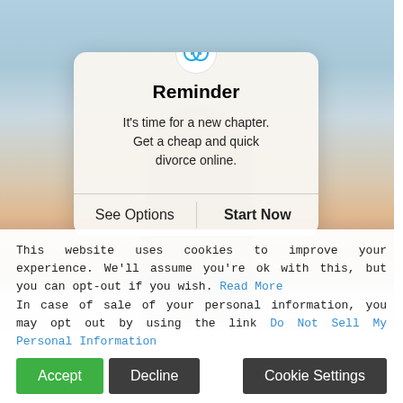[Figure (screenshot): Mobile app notification popup over a sunset/sky background photo with a silhouetted figure. The popup card shows a reminder about online divorce services with 'See Options' and 'Start Now' buttons.]
Reminder
It's time for a new chapter. Get a cheap and quick divorce online.
See Options    Start Now
This website uses cookies to improve your experience. We'll assume you're ok with this, but you can opt-out if you wish. Read More In case of sale of your personal information, you may opt out by using the link Do Not Sell My Personal Information
Accept   Decline   Cookie Settings